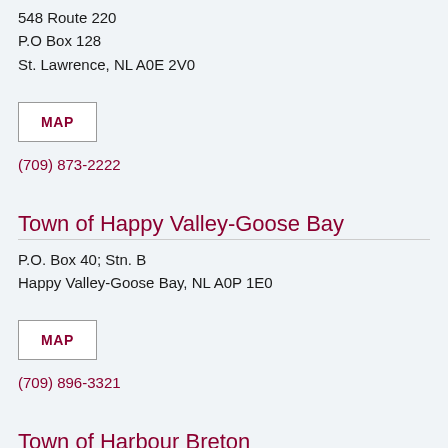548 Route 220
P.O Box 128
St. Lawrence, NL A0E 2V0
[Figure (other): MAP button - white rectangle with dark red bold text 'MAP']
(709) 873-2222
Town of Happy Valley-Goose Bay
P.O. Box 40; Stn. B
Happy Valley-Goose Bay, NL A0P 1E0
[Figure (other): MAP button - white rectangle with dark red bold text 'MAP']
(709) 896-3321
Town of Harbour Breton